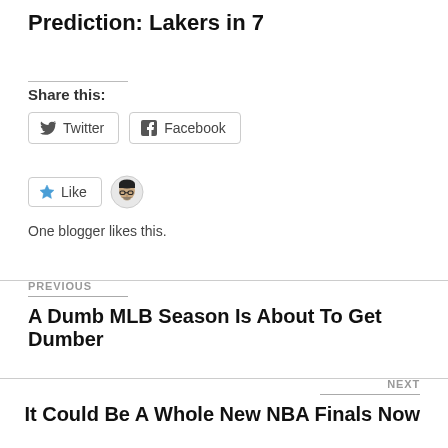Prediction: Lakers in 7
Share this:
[Figure (other): Twitter and Facebook share buttons]
[Figure (other): Like button and blogger avatar with text: One blogger likes this.]
One blogger likes this.
PREVIOUS
A Dumb MLB Season Is About To Get Dumber
NEXT
It Could Be A Whole New NBA Finals Now